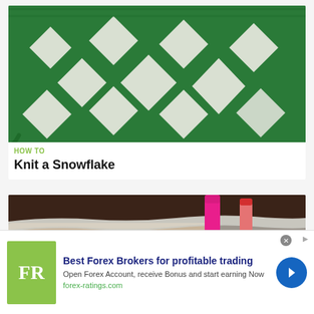[Figure (photo): Close-up of green and white knitted snowflake pattern on fabric swatch]
HOW TO
Knit a Snowflake
[Figure (photo): Close-up of hands holding crochet hook with white yarn]
[Figure (other): Advertisement: Best Forex Brokers for profitable trading. FR logo. Open Forex Account, receive Bonus and start earning Now. forex-ratings.com]